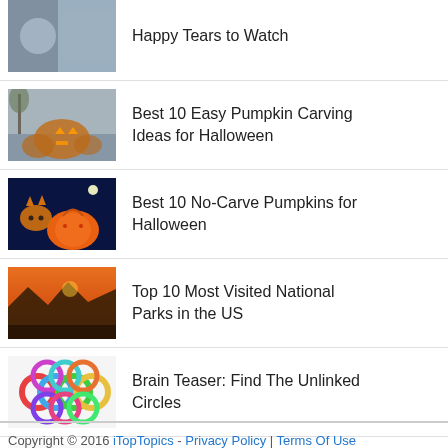Happy Tears to Watch
Best 10 Easy Pumpkin Carving Ideas for Halloween
Best 10 No-Carve Pumpkins for Halloween
Top 10 Most Visited National Parks in the US
Brain Teaser: Find The Unlinked Circles
Brain Teaser: Dinosaurs on a
Copyright © 2016 iTopTopics - Privacy Policy | Terms Of Use